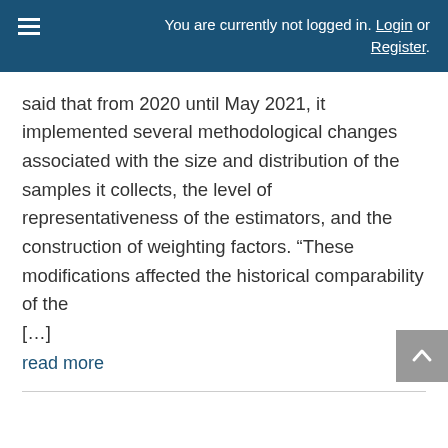You are currently not logged in. Login or Register.
said that from 2020 until May 2021, it implemented several methodological changes associated with the size and distribution of the samples it collects, the level of representativeness of the estimators, and the construction of weighting factors. “These modifications affected the historical comparability of the [...]
read more